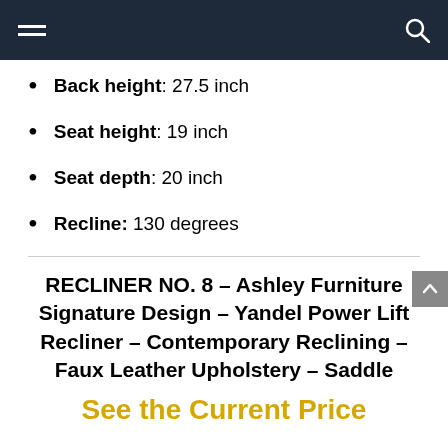Navigation bar with hamburger menu and search icon
Back height: 27.5 inch
Seat height: 19 inch
Seat depth: 20 inch
Recline: 130 degrees
RECLINER NO. 8 – Ashley Furniture Signature Design – Yandel Power Lift Recliner – Contemporary Reclining – Faux Leather Upholstery – Saddle
See the Current Price